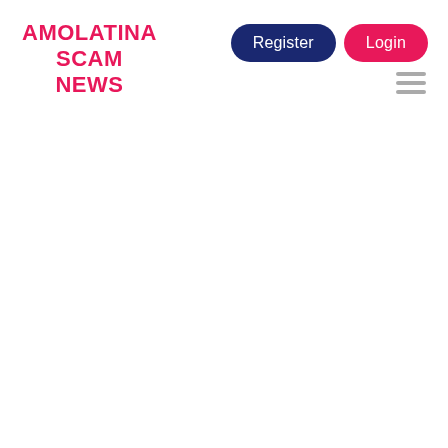AMOLATINA SCAM NEWS
[Figure (other): Register button (dark navy rounded pill button)]
[Figure (other): Login button (pink/magenta rounded pill button)]
[Figure (other): Hamburger menu icon (three horizontal gray lines)]